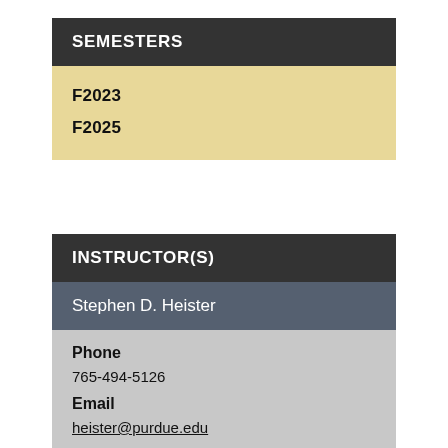SEMESTERS
F2023
F2025
INSTRUCTOR(S)
Stephen D. Heister
Phone
765-494-5126
Email
heister@purdue.edu
Office